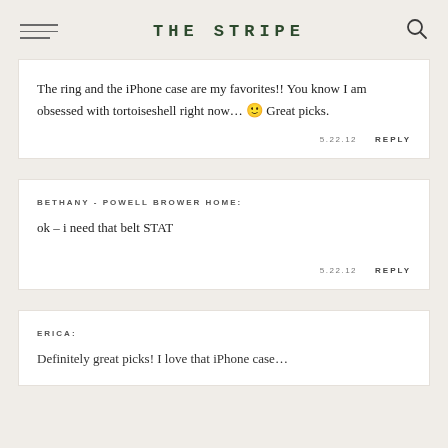THE STRIPE
The ring and the iPhone case are my favorites!! You know I am obsessed with tortoiseshell right now... 🙂 Great picks.
5.22.12   REPLY
BETHANY - POWELL BROWER HOME:
ok – i need that belt STAT
5.22.12   REPLY
ERICA:
Definitely great picks! I love that iPhone case...